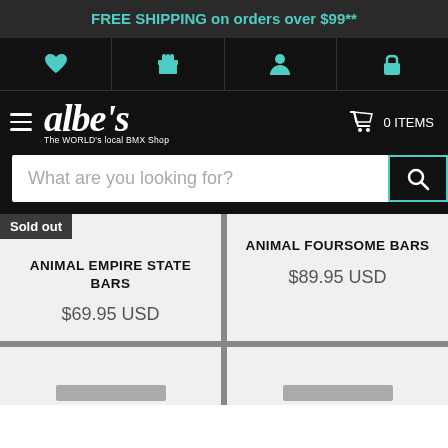FREE SHIPPING on orders over $99**
[Figure (screenshot): Icon bar with heart, gift, person, and lock icons in teal on black background]
[Figure (logo): Albe's logo - The WORLD's local BMX Shop, with hamburger menu and cart showing 0 ITEMS]
What are you looking for?
Sold out
ANIMAL EMPIRE STATE BARS
$69.95 USD
ANIMAL FOURSOME BARS
$89.95 USD